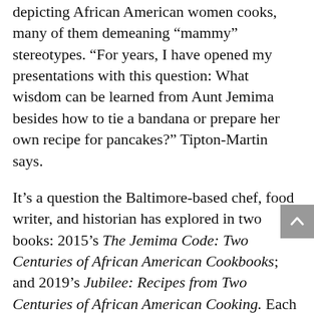depicting African American women cooks, many of them demeaning “mammy” stereotypes. “For years, I have opened my presentations with this question: What wisdom can be learned from Aunt Jemima besides how to tie a bandana or prepare her own recipe for pancakes?” Tipton-Martin says.
It’s a question the Baltimore-based chef, food writer, and historian has explored in two books: 2015’s The Jemima Code: Two Centuries of African American Cookbooks; and 2019’s Jubilee: Recipes from Two Centuries of African American Cooking. Each book won an award from the James Beard Foundation, a nonprofit that recognizes the most prestigious accomplishments in American food culture.